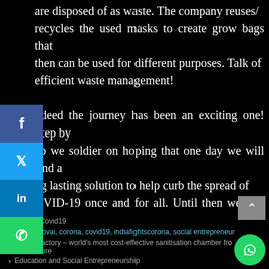by everyone there is a great number of masks that are disposed of as waste. The company reuses/recycles the used masks to create grow bags that then can be used for different purposes. Talk of efficient waste management! Indeed the journey has been an exciting one! Step by step we soldier on hoping that one day we will find a long lasting solution to help curb the spread of COVID-19 once and for all. Until then we will keep innovating. Cheers!!!
Blog, Covid19 | builtinkovai, corona, covid19, indiafightscorona, social entrepreneur | < Aspire Factory – world's most cost-effective sanitisation chamber from Coimbatore | > Education and Social Entrepreneurship